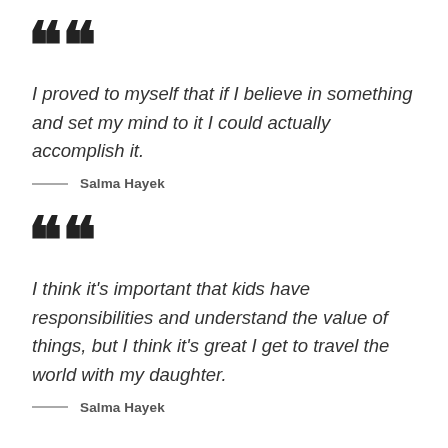“I proved to myself that if I believe in something and set my mind to it I could actually accomplish it.
— Salma Hayek
“I think it’s important that kids have responsibilities and understand the value of things, but I think it’s great I get to travel the world with my daughter.
— Salma Hayek